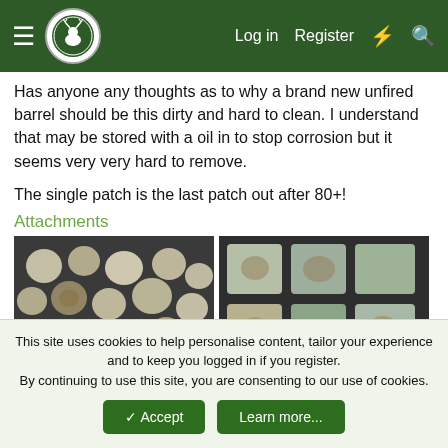Navigation bar with hamburger menu, logo, Log in, Register, lightning icon, search icon
Has anyone any thoughts as to why a brand new unfired barrel should be this dirty and hard to clean. I understand that may be stored with a oil in to stop corrosion but it seems very very hard to remove.
The single patch is the last patch out after 80+!
Attachments
[Figure (photo): Left photo: numerous circular/oval used cleaning patches laid out on dark background, showing various shades of white, brown, and dirty residue.]
[Figure (photo): Right photo: square cleaning patches arranged in grid on dark background, showing greenish-brown and beige staining patterns.]
This site uses cookies to help personalise content, tailor your experience and to keep you logged in if you register.
By continuing to use this site, you are consenting to our use of cookies.
Accept | Learn more...